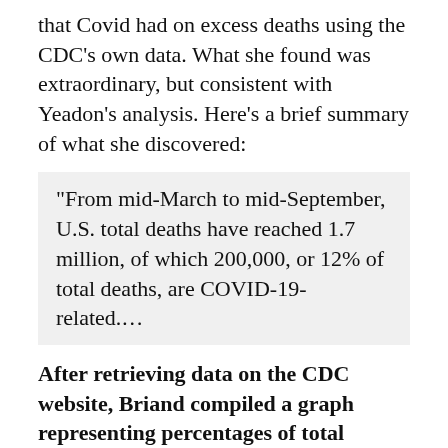that Covid had on excess deaths using the CDC's own data. What she found was extraordinary, but consistent with Yeadon's analysis. Here's a brief summary of what she discovered:
“From mid-March to mid-September, U.S. total deaths have reached 1.7 million, of which 200,000, or 12% of total deaths, are COVID-19-related.….
After retrieving data on the CDC website, Briand compiled a graph representing percentages of total deaths per age category from early February to early September, which includes the period from